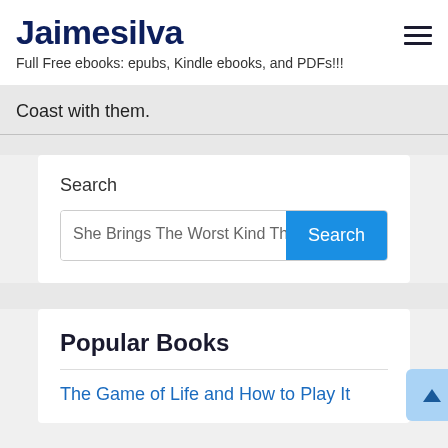Jaimesilva
Full Free ebooks: epubs, Kindle ebooks, and PDFs!!!
Coast with them.
Search
She Brings The Worst Kind The
Popular Books
The Game of Life and How to Play It